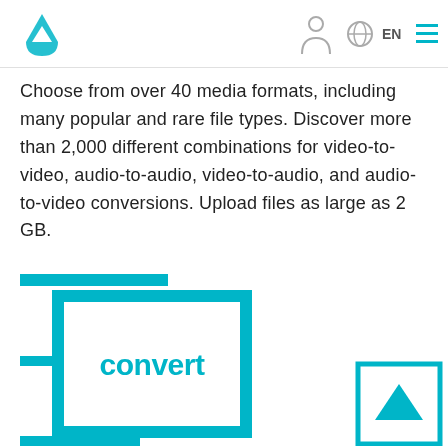Logo and navigation: EN menu
Choose from over 40 media formats, including many popular and rare file types. Discover more than 2,000 different combinations for video-to-video, audio-to-audio, video-to-audio, and audio-to-video conversions. Upload files as large as 2 GB.
[Figure (logo): Teal convert button icon with horizontal bars and a small square with triangle arrow icon]